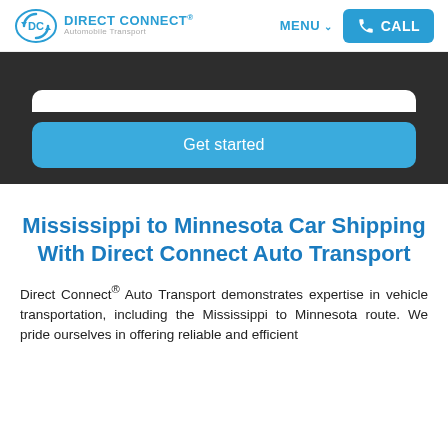[Figure (logo): Direct Connect Automobile Transport logo with DC emblem in blue]
MENU ∨   CALL
[Figure (screenshot): Dark hero section with white input bar and blue Get started button]
Mississippi to Minnesota Car Shipping With Direct Connect Auto Transport
Direct Connect® Auto Transport demonstrates expertise in vehicle transportation, including the Mississippi to Minnesota route. We pride ourselves in offering reliable and efficient